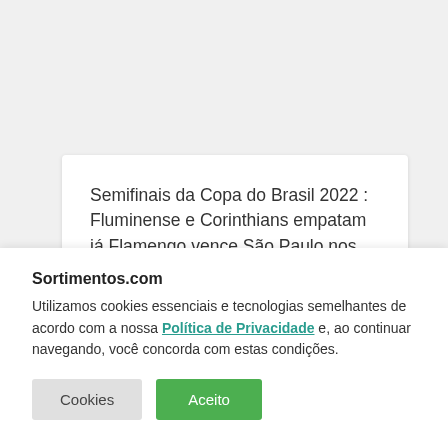Semifinais da Copa do Brasil 2022 : Fluminense e Corinthians empatam já Flamengo vence São Paulo nos jogos de ida
Sortimentos.com
Utilizamos cookies essenciais e tecnologias semelhantes de acordo com a nossa Política de Privacidade e, ao continuar navegando, você concorda com estas condições.